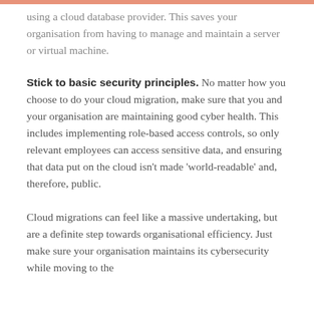using a cloud database provider. This saves your organisation from having to manage and maintain a server or virtual machine.
Stick to basic security principles.
No matter how you choose to do your cloud migration, make sure that you and your organisation are maintaining good cyber health. This includes implementing role-based access controls, so only relevant employees can access sensitive data, and ensuring that data put on the cloud isn't made 'world-readable' and, therefore, public.
Cloud migrations can feel like a massive undertaking, but are a definite step towards organisational efficiency. Just make sure your organisation maintains its cybersecurity while moving to the